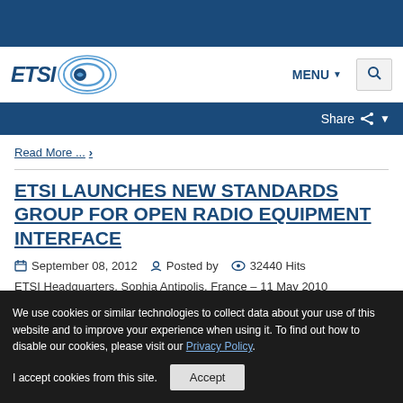[Figure (logo): ETSI website screenshot with top blue bar, navigation with ETSI logo, MENU button and search icon]
MENU   🔍   Share
Read More ...
ETSI LAUNCHES NEW STANDARDS GROUP FOR OPEN RADIO EQUIPMENT INTERFACE
September 08, 2012   Posted by   32440 Hits
ETSI Headquarters, Sophia Antipolis, France – 11 May 2010
We use cookies or similar technologies to collect data about your use of this website and to improve your experience when using it. To find out how to disable our cookies, please visit our Privacy Policy.

I accept cookies from this site.   Accept